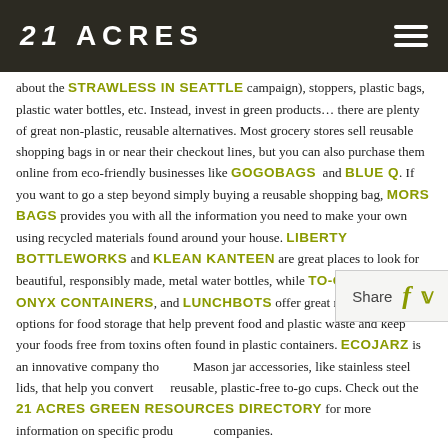21 ACRES
about the STRAWLESS IN SEATTLE campaign), stoppers, plastic bags, plastic water bottles, etc. Instead, invest in green products… there are plenty of great non-plastic, reusable alternatives. Most grocery stores sell reusable shopping bags in or near their checkout lines, but you can also purchase them online from eco-friendly businesses like GOGOBAGS and BLUE Q. If you want to go a step beyond simply buying a reusable shopping bag, MORS BAGS provides you with all the information you need to make your own using recycled materials found around your house. LIBERTY BOTTLEWORKS and KLEAN KANTEEN are great places to look for beautiful, responsibly made, metal water bottles, while TO-GO WARE, ONYX CONTAINERS, and LUNCHBOTS offer great non-plastic options for food storage that help prevent food and plastic waste and keep your foods free from toxins often found in plastic containers. ECOJARZ is an innovative company that sells Mason jar accessories, like stainless steel lids, that help you convert to reusable, plastic-free to-go cups. Check out the 21 ACRES GREEN RESOURCES DIRECTORY for more information on specific products and companies.
3) Be an informed and responsible consumer. Know where and how your potential purchases were made and what sorts of materials were used to make them. Try to purchase products that are sustainably produced,